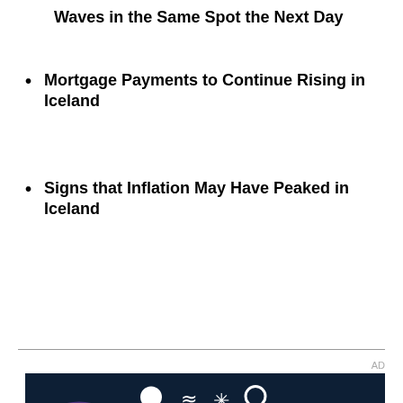Waves in the Same Spot the Next Day
Mortgage Payments to Continue Rising in Iceland
Signs that Inflation May Have Peaked in Iceland
[Figure (photo): Viking Sushi restaurant advertisement banner featuring underwater sea life (sea urchins, crabs, coral) in the background with the Viking Sushi logo in white text and chopstick graphic at the top.]